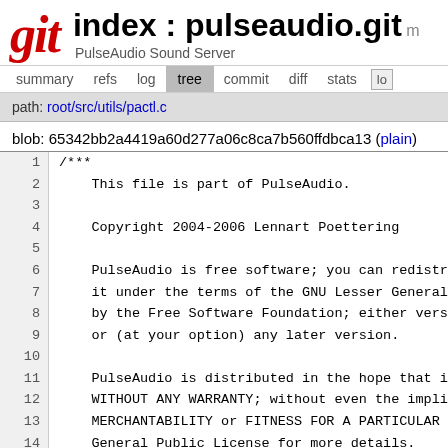Git index : pulseaudio.git — PulseAudio Sound Server
summary  refs  log  tree  commit  diff  stats
path: root/src/utils/pactl.c
blob: 65342bb2a4419a60d277a06c8ca7b560ffdbca13 (plain)
1
2
3
4
5
6
7
8
9
10
11
12
13
14
15
16
17
/***
    This file is part of PulseAudio.

    Copyright 2004-2006 Lennart Poettering

    PulseAudio is free software; you can redistr
    it under the terms of the GNU Lesser General
    by the Free Software Foundation; either vers
    or (at your option) any later version.

    PulseAudio is distributed in the hope that i
    WITHOUT ANY WARRANTY; without even the impli
    MERCHANTABILITY or FITNESS FOR A PARTICULAR
    General Public License for more details.

    You should have received a copy of the GNU L
    along with PulseAudio; if not, write to the